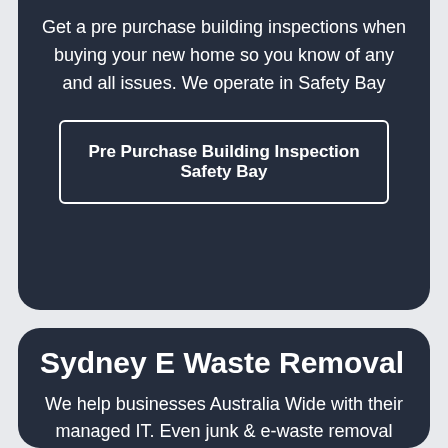Get a pre purchase building inspections when buying your new home so you know of any and all issues. We operate in Safety Bay
Pre Purchase Building Inspection Safety Bay
Sydney E Waste Removal
We help businesses Australia Wide with their managed IT. Even junk & e-waste removal business because they